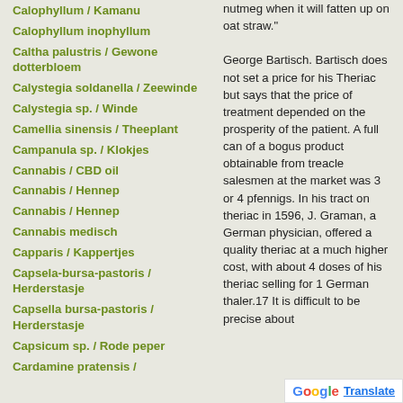Calophyllum / Kamanu
Calophyllum inophyllum
Caltha palustris / Gewone dotterbloem
Calystegia soldanella / Zeewinde
Calystegia sp. / Winde
Camellia sinensis / Theeplant
Campanula sp. / Klokjes
Cannabis / CBD oil
Cannabis / Hennep
Cannabis / Hennep
Cannabis medisch
Capparis / Kappertjes
Capsela-bursa-pastoris / Herderstasje
Capsella bursa-pastoris / Herderstasje
Capsicum sp. / Rode peper
Cardamine pratensis /
nutmeg when it will fatten up on oat straw."

George Bartisch. Bartisch does not set a price for his Theriac but says that the price of treatment depended on the prosperity of the patient. A full can of a bogus product obtainable from treacle salesmen at the market was 3 or 4 pfennigs. In his tract on theriac in 1596, J. Graman, a German physician, offered a quality theriac at a much higher cost, with about 4 doses of his theriac selling for 1 German thaler.17 It is difficult to be precise about